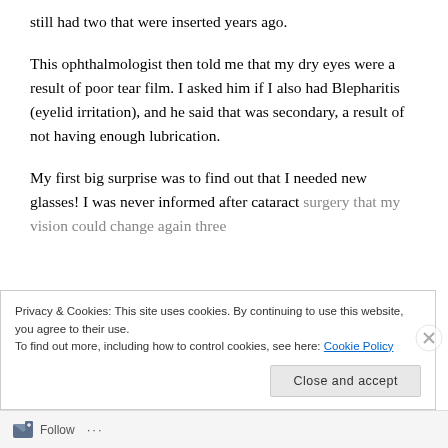still had two that were inserted years ago.
This ophthalmologist then told me that my dry eyes were a result of poor tear film. I asked him if I also had Blepharitis (eyelid irritation), and he said that was secondary, a result of not having enough lubrication.
My first big surprise was to find out that I needed new glasses! I was never informed after cataract surgery that my vision could change again three
Privacy & Cookies: This site uses cookies. By continuing to use this website, you agree to their use.
To find out more, including how to control cookies, see here: Cookie Policy
Close and accept
Follow